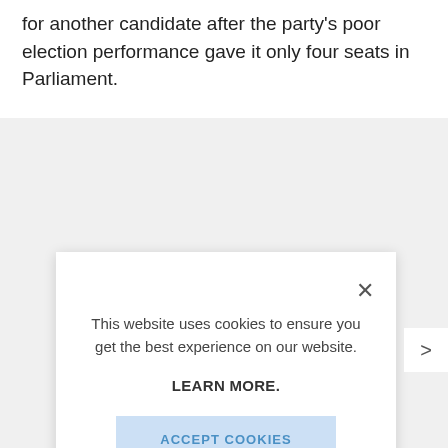for another candidate after the party's poor election performance gave it only four seats in Parliament.
[Figure (screenshot): Cookie consent modal dialog overlay on a webpage. The modal contains text 'This website uses cookies to ensure you get the best experience on our website.' followed by a bold 'LEARN MORE.' link and a light blue 'ACCEPT COOKIES' button. There is an X close button in the top right corner of the modal. The background shows a grey overlay.]